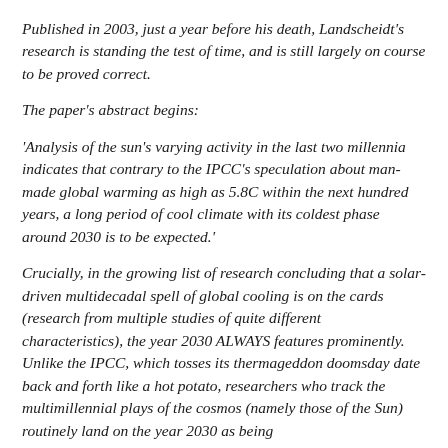Published in 2003, just a year before his death, Landscheidt's research is standing the test of time, and is still largely on course to be proved correct.
The paper's abstract begins:
'Analysis of the sun's varying activity in the last two millennia indicates that contrary to the IPCC's speculation about man-made global warming as high as 5.8C within the next hundred years, a long period of cool climate with its coldest phase around 2030 is to be expected.'
Crucially, in the growing list of research concluding that a solar-driven multidecadal spell of global cooling is on the cards (research from multiple studies of quite different characteristics), the year 2030 ALWAYS features prominently. Unlike the IPCC, which tosses its thermageddon doomsday date back and forth like a hot potato, researchers who track the multimillennial plays of the cosmos (namely those of the Sun) routinely land on the year 2030 as being